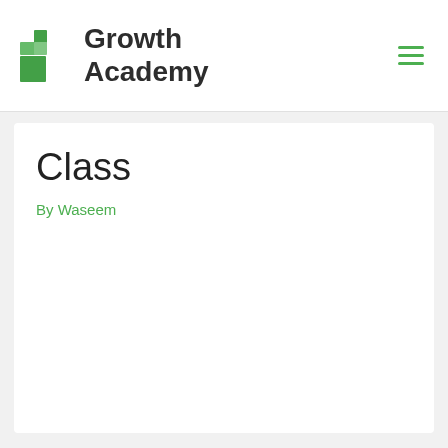[Figure (logo): Growth Academy logo with green stacked blocks icon and bold text 'Growth Academy']
Class
By Waseem